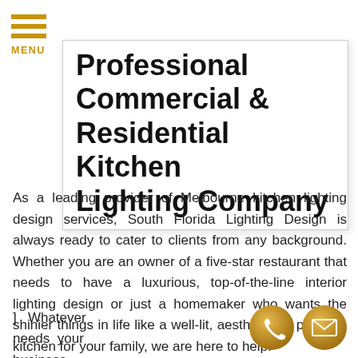[Figure (other): Hamburger menu icon with three horizontal orange bars and MENU label below]
Professional Commercial & Residential Kitchen Lighting Company
As a leading provider of Melbourne kitchen lighting design services, South Florida Lighting Design is always ready to cater to clients from any background. Whether you are an owner of a five-star restaurant that needs to have a luxurious, top-of-the-line interior lighting design or just a homemaker who wants the shinier things in life like a well-lit, aesthetically pleasing kitchen for your family, we are here to help.
]   Whatever needs your business establishme
[Figure (other): Two golden circular contact icons: phone and email/envelope]